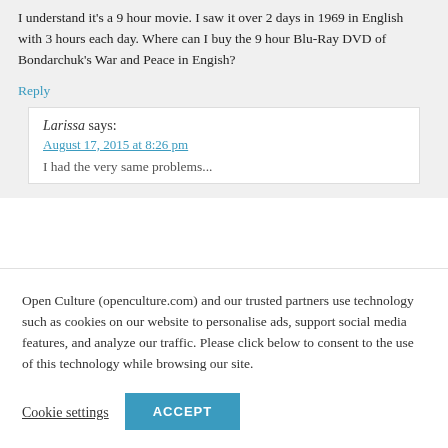I understand it's a 9 hour movie. I saw it over 2 days in 1969 in English with 3 hours each day. Where can I buy the 9 hour Blu-Ray DVD of Bondarchuk's War and Peace in Engish?
Reply
Larissa says:
August 17, 2015 at 8:26 pm
I had the very same problems...
Open Culture (openculture.com) and our trusted partners use technology such as cookies on our website to personalise ads, support social media features, and analyze our traffic. Please click below to consent to the use of this technology while browsing our site.
Cookie settings
ACCEPT